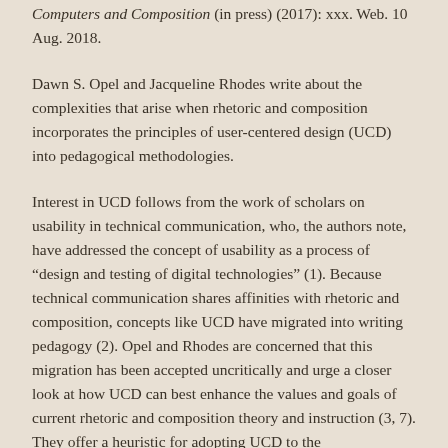Computers and Composition (in press) (2017): xxx. Web. 10 Aug. 2018.
Dawn S. Opel and Jacqueline Rhodes write about the complexities that arise when rhetoric and composition incorporates the principles of user-centered design (UCD) into pedagogical methodologies.
Interest in UCD follows from the work of scholars on usability in technical communication, who, the authors note, have addressed the concept of usability as a process of “design and testing of digital technologies” (1). Because technical communication shares affinities with rhetoric and composition, concepts like UCD have migrated into writing pedagogy (2). Opel and Rhodes are concerned that this migration has been accepted uncritically and urge a closer look at how UCD can best enhance the values and goals of current rhetoric and composition theory and instruction (3, 7). They offer a heuristic for adopting UCD to the